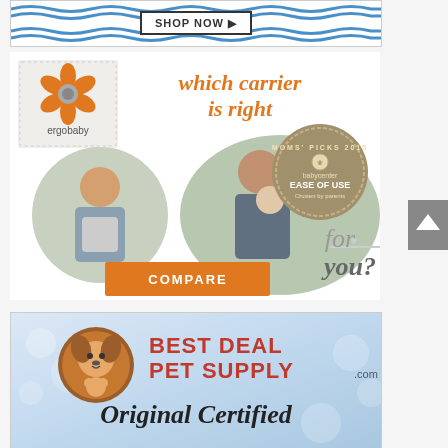[Figure (infographic): Top banner advertisement with wave pattern background and 'SHOP NOW' button]
[Figure (infographic): Ergobaby advertisement showing 'which carrier is right for you?' with photos of mothers carrying babies and a COMPARE button. Includes Moms Picks 2015 badge for Ease of Use from babycenter.]
[Figure (logo): Best Deal Pet Supply .com advertisement with dog logo and 'Original Certified' text on a light blue/silver background]